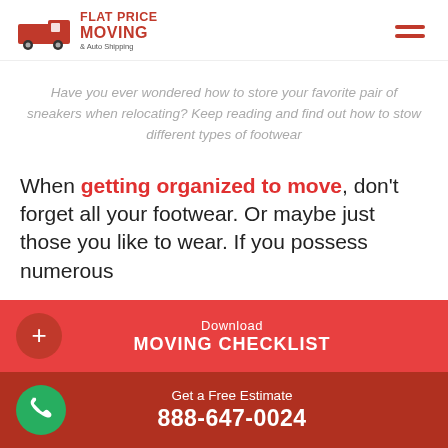[Figure (logo): Flat Price Moving & Auto Shipping logo with red moving truck icon and red bold text]
Have you ever wondered how to store your favorite pair of sneakers when relocating? Keep reading and find out how to stow different types of footwear
When getting organized to move, don't forget all your footwear. Or maybe just those you like to wear. If you possess numerous
Download MOVING CHECKLIST
Get a Free Estimate 888-647-0024